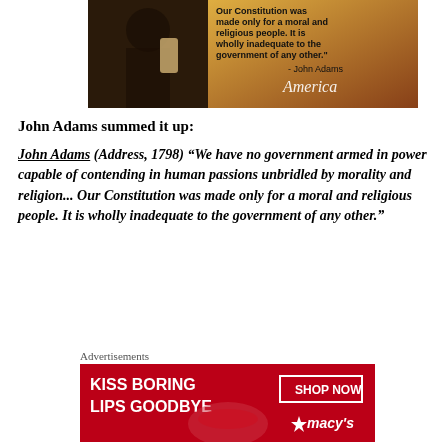[Figure (illustration): Inspirational quote image with dark background on left showing a figure holding a scroll, and golden/brown background on right with text: 'Our Constitution was made only for a moral and religious people. It is wholly inadequate to the government of any other.' — John Adams. Logo text 'America' in cursive at bottom right.]
John Adams summed it up:
John Adams (Address, 1798) “We have no government armed in power capable of contending in human passions unbridled by morality and religion... Our Constitution was made only for a moral and religious people. It is wholly inadequate to the government of any other.”
Advertisements
[Figure (photo): Macy's advertisement banner with red background. Left side: 'KISS BORING LIPS GOODBYE' in white bold text with woman's face showing red lips. Right side: 'SHOP NOW' button and Macy's star logo in white.]